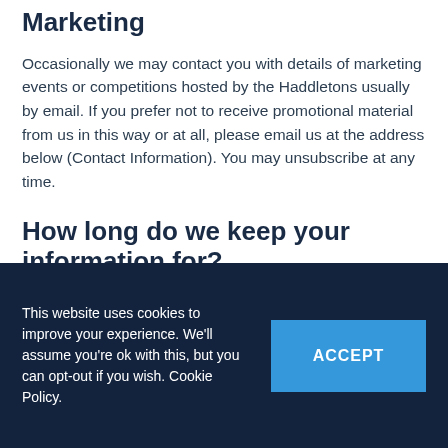Marketing
Occasionally we may contact you with details of marketing events or competitions hosted by the Haddletons usually by email. If you prefer not to receive promotional material from us in this way or at all, please email us at the address below (Contact Information). You may unsubscribe at any time.
How long do we keep your information for?
We only keep your information for as long as is necessary. We have a Document Retention Policy
This website uses cookies to improve your experience. We'll assume you're ok with this, but you can opt-out if you wish. Cookie Policy.